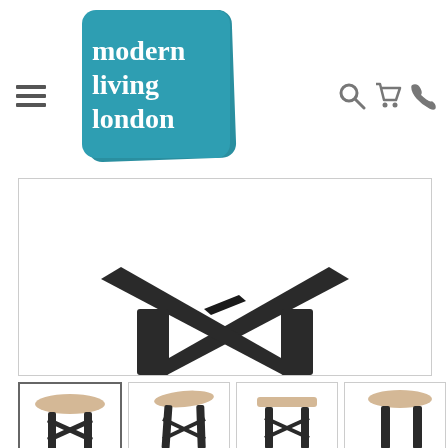[Figure (logo): Modern Living London logo - teal/turquoise rounded square with white serif text reading 'modern living london']
[Figure (photo): Close-up detail of a stool base showing crossed black metal X-frame stretcher legs on white background]
[Figure (photo): Thumbnail 1: Full view of wooden round-seat stool with black X-frame legs, selected/active state]
[Figure (photo): Thumbnail 2: Angled view of wooden stool with black legs]
[Figure (photo): Thumbnail 3: Front view of stool with black A-frame legs]
[Figure (photo): Thumbnail 4: Side close-up view of stool seat and legs]